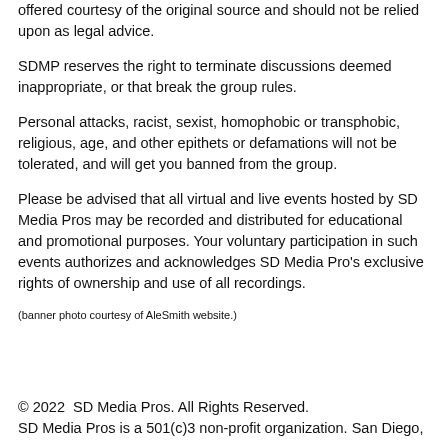offered courtesy of the original source and should not be relied upon as legal advice.
SDMP reserves the right to terminate discussions deemed inappropriate, or that break the group rules.
Personal attacks, racist, sexist, homophobic or transphobic, religious, age, and other epithets or defamations will not be tolerated, and will get you banned from the group.
Please be advised that all virtual and live events hosted by SD Media Pros may be recorded and distributed for educational and promotional purposes. Your voluntary participation in such events authorizes and acknowledges SD Media Pro's exclusive rights of ownership and use of all recordings.
(banner photo courtesy of AleSmith website.)
© 2022  SD Media Pros. All Rights Reserved.
SD Media Pros is a 501(c)3 non-profit organization. San Diego,